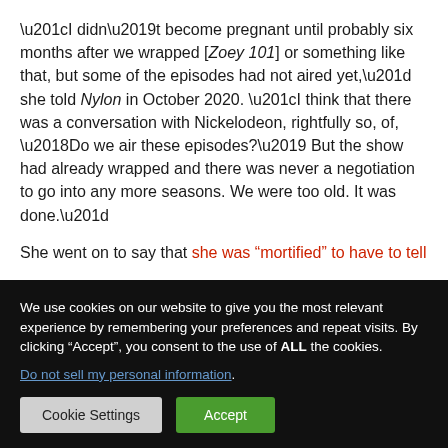“I didn’t become pregnant until probably six months after we wrapped [Zoey 101] or something like that, but some of the episodes had not aired yet,” she told Nylon in October 2020. “I think that there was a conversation with Nickelodeon, rightfully so, of, ‘Do we air these episodes?’ But the show had already wrapped and there was never a negotiation to go into any more seasons. We were too old. It was done.”
She went on to say that she was “mortified” to have to tell
We use cookies on our website to give you the most relevant experience by remembering your preferences and repeat visits. By clicking “Accept”, you consent to the use of ALL the cookies.
Do not sell my personal information.
Cookie Settings | Accept